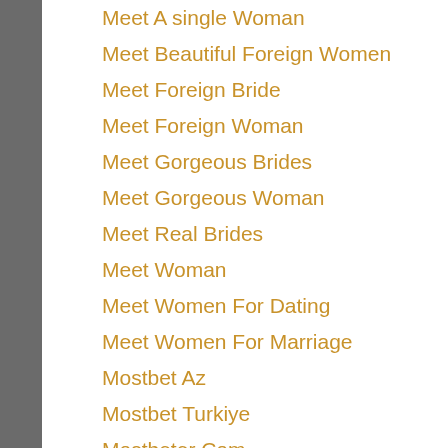Meet A Single Woman
Meet Beautiful Foreign Women
Meet Foreign Bride
Meet Foreign Woman
Meet Gorgeous Brides
Meet Gorgeous Woman
Meet Real Brides
Meet Woman
Meet Women For Dating
Meet Women For Marriage
Mostbet Az
Mostbet Turkiye
Mostbeter Com
Muslim Brides
New Post